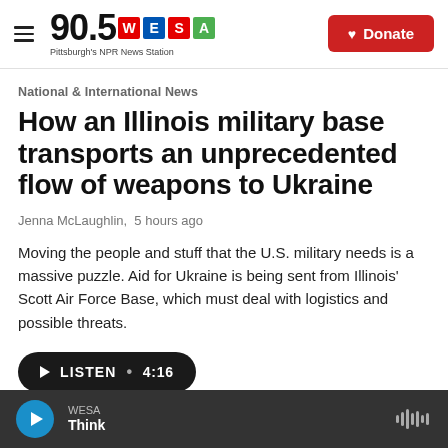90.5 WESA Pittsburgh's NPR News Station | Donate
National & International News
How an Illinois military base transports an unprecedented flow of weapons to Ukraine
Jenna McLaughlin,  5 hours ago
Moving the people and stuff that the U.S. military needs is a massive puzzle. Aid for Ukraine is being sent from Illinois' Scott Air Force Base, which must deal with logistics and possible threats.
WESA Think